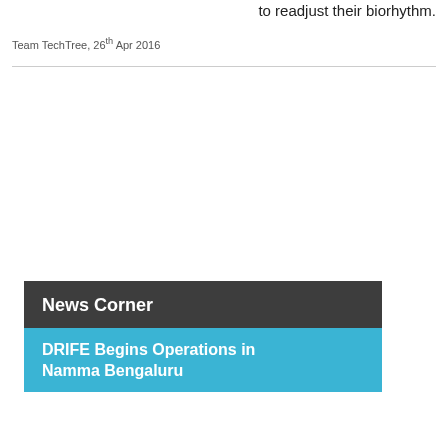to readjust their biorhythm.
Team TechTree, 26th Apr 2016
News Corner
DRIFE Begins Operations in Namma Bengaluru